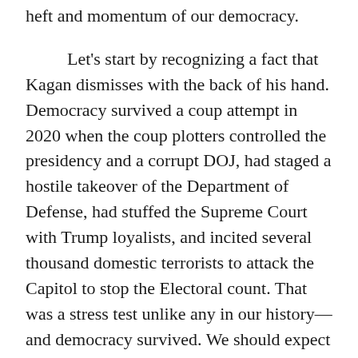heft and momentum of our democracy.

Let's start by recognizing a fact that Kagan dismisses with the back of his hand. Democracy survived a coup attempt in 2020 when the coup plotters controlled the presidency and a corrupt DOJ, had staged a hostile takeover of the Department of Defense, had stuffed the Supreme Court with Trump loyalists, and incited several thousand domestic terrorists to attack the Capitol to stop the Electoral count. That was a stress test unlike any in our history—and democracy survived. We should expect an even stronger defense in 2024.

The Supreme Court repeatedly rebuffed